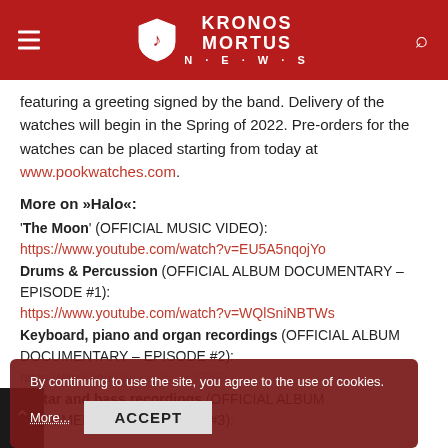Kronos Mortus News
featuring a greeting signed by the band. Delivery of the watches will begin in the Spring of 2022. Pre-orders for the watches can be placed starting from today at www.pookwatches.com.
More on »Halo«:
'The Moon' (OFFICIAL MUSIC VIDEO): https://www.youtube.com/watch?v=EU5A5nqojYo
Drums & Percussion (OFFICIAL ALBUM DOCUMENTARY – EPISODE #1): https://www.youtube.com/watch?v=WQlSniNBTWs
Keyboard, piano and organ recordings (OFFICIAL ALBUM DOCUMENTARY – EPISODE #2): https://www.youtube.com/...ksSTdEU
Guitar and bass recordings (OFFICIAL ALBUM DOCUMENTARY – EPISODE #3):